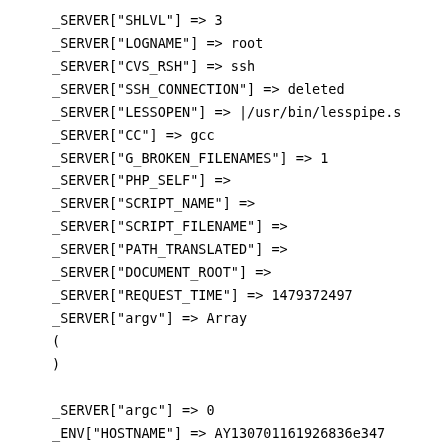_SERVER["SHLVL"] => 3
_SERVER["LOGNAME"] => root
_SERVER["CVS_RSH"] => ssh
_SERVER["SSH_CONNECTION"] => deleted
_SERVER["LESSOPEN"] => |/usr/bin/lesspipe.s
_SERVER["CC"] => gcc
_SERVER["G_BROKEN_FILENAMES"] => 1
_SERVER["PHP_SELF"] =>
_SERVER["SCRIPT_NAME"] =>
_SERVER["SCRIPT_FILENAME"] =>
_SERVER["PATH_TRANSLATED"] =>
_SERVER["DOCUMENT_ROOT"] =>
_SERVER["REQUEST_TIME"] => 1479372497
_SERVER["argv"] => Array
(
)

_SERVER["argc"] => 0
_ENV["HOSTNAME"] => AY130701161926836e347